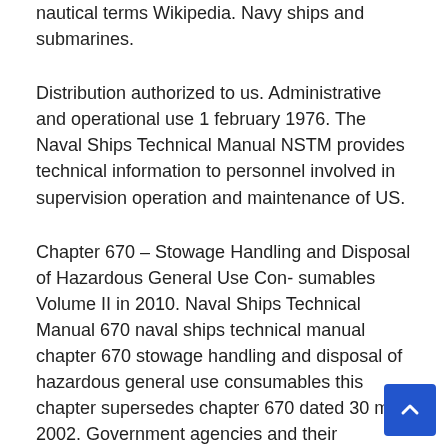nautical terms Wikipedia. Navy ships and submarines.
Distribution authorized to us. Administrative and operational use 1 february 1976. The Naval Ships Technical Manual NSTM provides technical information to personnel involved in supervision operation and maintenance of US.
Chapter 670 – Stowage Handling and Disposal of Hazardous General Use Con- sumables Volume II in 2010. Naval Ships Technical Manual 670 naval ships technical manual chapter 670 stowage handling and disposal of hazardous general use consumables this chapter supersedes chapter 670 dated 30 may 2002. Government agencies and their contractors.